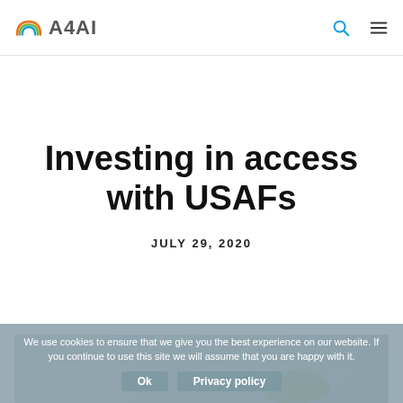A4AI
Investing in access with USAFs
JULY 29, 2020
We use cookies to ensure that we give you the best experience on our website. If you continue to use this site we will assume that you are happy with it.
[Figure (map): Partial map visible behind cookie consent banner]